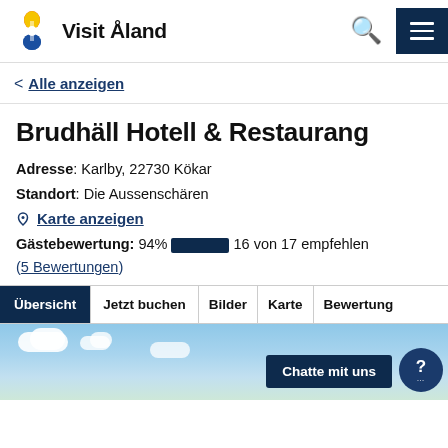Visit Åland
< Alle anzeigen
Brudhäll Hotell & Restaurang
Adresse: Karlby, 22730 Kökar
Standort: Die Aussenschären
Karte anzeigen
Gästebewertung: 94% 16 von 17 empfehlen (5 Bewertungen)
Übersicht | Jetzt buchen | Bilder | Karte | Bewertung
[Figure (photo): Sky with clouds — partial view of hotel exterior]
Chatte mit uns